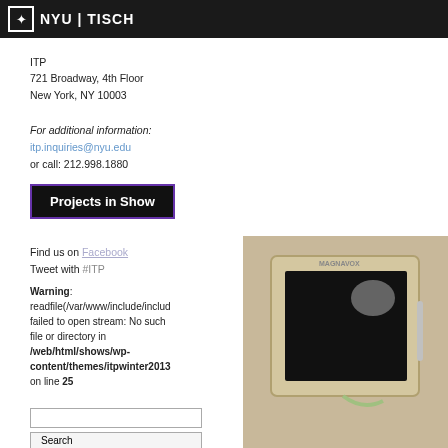NYU | TISCH
ITP
721 Broadway, 4th Floor
New York, NY 10003
For additional information:
itp.inquiries@nyu.edu
or call: 212.998.1880
ALLISON YE
ARIELLE HEIN
JOHN FARRELL
Projects in Show
Find us on Facebook
Tweet with #ITP
Warning: readfile(/var/www/include/includ failed to open stream: No such file or directory in /web/html/shows/wp-content/themes/itpwinter2013 on line 25
[Figure (photo): Photo of a Magnavox electronic tablet/drawing device on a beige surface]
Search